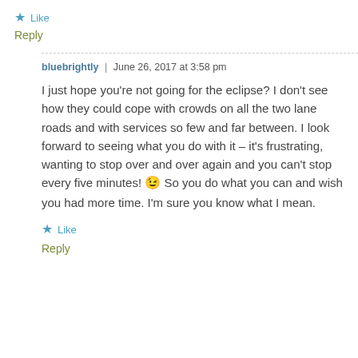★ Like
Reply
bluebrightly | June 26, 2017 at 3:58 pm
I just hope you're not going for the eclipse? I don't see how they could cope with crowds on all the two lane roads and with services so few and far between. I look forward to seeing what you do with it – it's frustrating, wanting to stop over and over again and you can't stop every five minutes! 😉 So you do what you can and wish you had more time. I'm sure you know what I mean.
★ Like
Reply